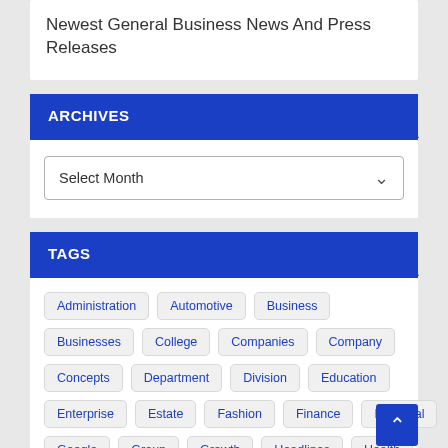Newest General Business News And Press Releases
ARCHIVES
Select Month
TAGS
Administration
Automotive
Business
Businesses
College
Companies
Company
Concepts
Department
Division
Education
Enterprise
Estate
Fashion
Finance
Financial
Google
Group
Growth
Headlines
Health